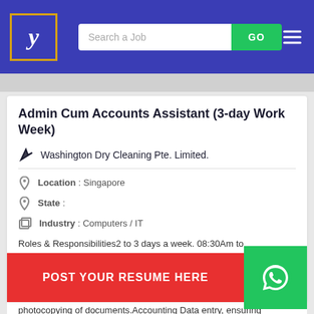y | Search a Job | GO
Admin Cum Accounts Assistant (3-day Work Week)
Washington Dry Cleaning Pte. Limited.
Location : Singapore
State :
Industry : Computers / IT
Roles & Responsibilities2 to 3 days a week. 08:30Am to
photocopying of documents.Accounting Data entry, ensuring